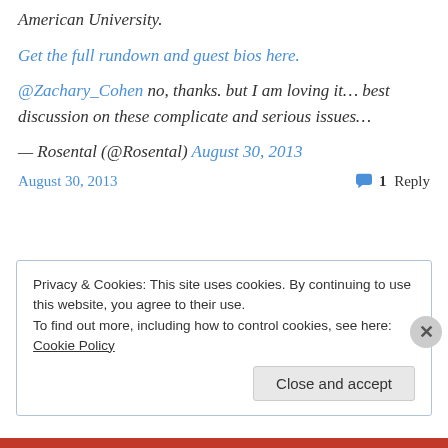American University.
Get the full rundown and guest bios here.
@Zachary_Cohen no, thanks. but I am loving it… best discussion on these complicate and serious issues…
— Rosental (@Rosental) August 30, 2013
August 30, 2013   1 Reply
Privacy & Cookies: This site uses cookies. By continuing to use this website, you agree to their use.
To find out more, including how to control cookies, see here: Cookie Policy